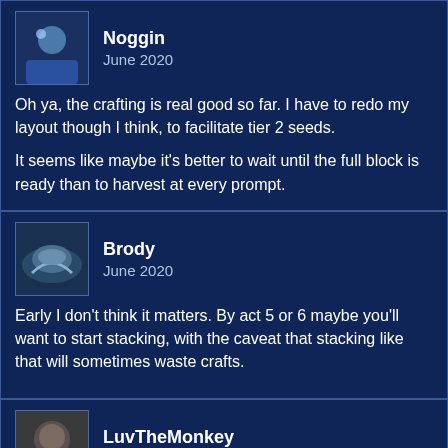Noggin
June 2020
Oh ya, the crafting is real good so far. I have to redo my layout though I think, to facilitate tier 2 seeds.

It seems like maybe it's better to wait until the full block is ready than to harvest at every prompt.
Brody
June 2020
Early I don't think it matters. By act 5 or 6 maybe you'll want to start stacking, with the caveat that stacking like that will sometimes waste crafts.
LuvTheMonkey
June 2020
So far Archmage Arc has turned into completely deleting stuff